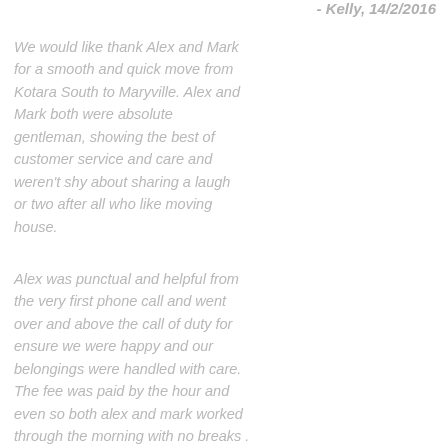- Kelly, 14/2/2016
We would like thank Alex and Mark for a smooth and quick move from Kotara South to Maryville. Alex and Mark both were absolute gentleman, showing the best of customer service and care and weren't shy about sharing a laugh or two after all who like moving house.
Alex was punctual and helpful from the very first phone call and went over and above the call of duty for ensure we were happy and our belongings were handled with care. The fee was paid by the hour and even so both alex and mark worked through the morning with no breaks . They remained happy and cheerful